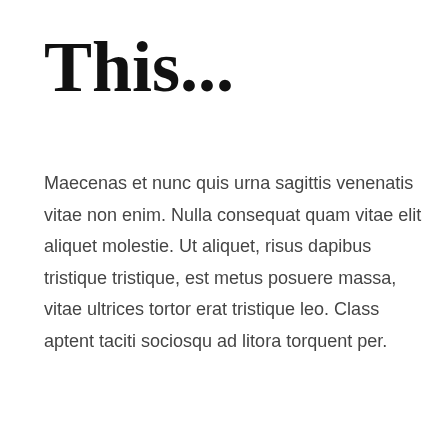This...
Maecenas et nunc quis urna sagittis venenatis vitae non enim. Nulla consequat quam vitae elit aliquet molestie. Ut aliquet, risus dapibus tristique tristique, est metus posuere massa, vitae ultrices tortor erat tristique leo. Class aptent taciti sociosqu ad litora torquent per.
[Figure (illustration): Dark teal banner/advertisement with bold white text reading 'ALLERGY ACUPRESSURE FOR YOUR PETS' and an image of a person wearing an Oakland baseball cap on the right side.]